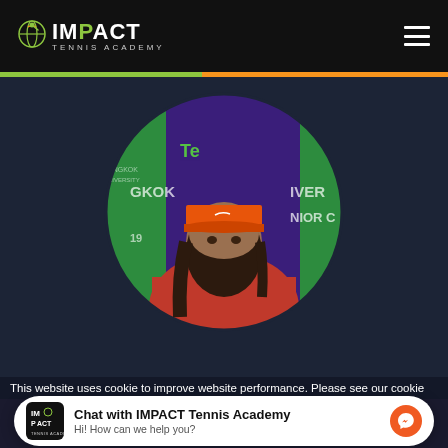[Figure (logo): Impact Tennis Academy logo with green bird/racket icon and white text on black header bar]
[Figure (photo): Circular cropped photo of a young tennis player wearing an orange Nike cap and red shirt, in front of a Bangkok University tennis tournament backdrop with green and purple branding]
This website uses cookie to improve website performance. Please see our cookie
[Figure (infographic): Chat widget with Impact Tennis Academy logo, bold text 'Chat with IMPACT Tennis Academy', subtitle 'Hi! How can we help you?' and orange Messenger icon button]